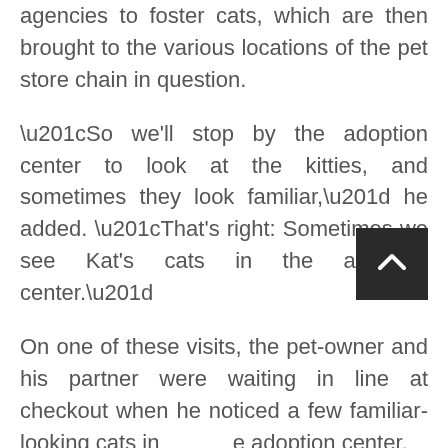agencies to foster cats, which are then brought to the various locations of the pet store chain in question.
“So we'll stop by the adoption center to look at the kitties, and sometimes they look familiar,” he added. “That’s right: Sometimes we see Kat’s cats in the adoption center.”
On one of these visits, the pet-owner and his partner were waiting in line at checkout when he noticed a few familiar-looking cats in the adoption center.
“I look up at my partner, and I ask VERY loudly: ‘Are those Kat’s? I think those are Kat’s!’”